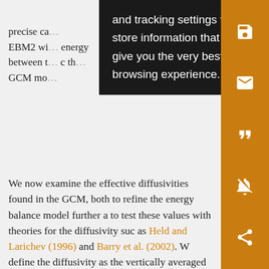precise ca... EBM2 wi... energy between t... c th... GCM mo...
[Figure (screenshot): Browser tooltip/cookie consent popup overlaying the article text, with black background and white text reading: 'and tracking settings to store information that help give you the very best browsing experience.']
We now examine the effective diffusivities found in the GCM, both to refine the energy balance model further and to test these values with theories for the diffusivity such as Held and Larichev (1996) and Barry et al. (2002). We define the diffusivity as the vertically averaged flux of moist static energy divided by the gradient of moist static energy at the surface. These effective diffusivities for the T170 cases are plotted in Fig. 6 for the extratropics. We have removed the deep Tropics from this plot, where the diffusive approximation is not expected to be valid. The values in the Tropics are poorly defined, but do not have a